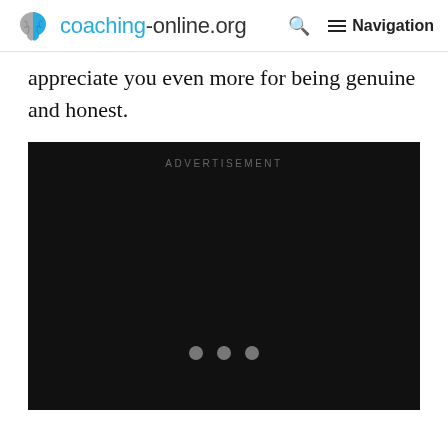coaching-online.org  Q  Navigation
appreciate you even more for being genuine and honest.
[Figure (other): Advertisement placeholder block with dark background, 'ADVERTISEMENT' label at top center, and three grey loading dots in the center-lower area.]